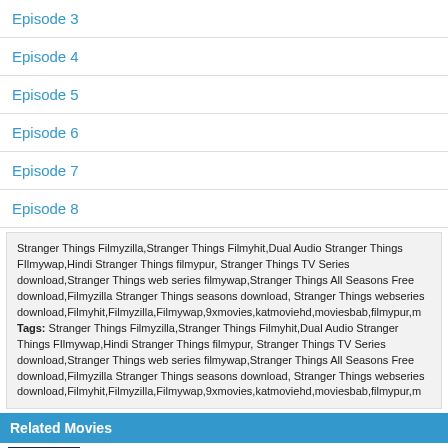Episode 3
Episode 4
Episode 5
Episode 6
Episode 7
Episode 8
Stranger Things Filmyzilla,Stranger Things Filmyhit,Dual Audio Stranger Things FIlmywap,Hindi Stranger Things filmypur, Stranger Things TV Series download,Stranger Things web series filmywap,Stranger Things All Seasons Free download,Filmyzilla Stranger Things seasons download, Stranger Things webseries download,Filmyhit,Filmyzilla,Filmywap,9xmovies,katmoviehd,moviesbab,filmypur,m Tags: Stranger Things Filmyzilla,Stranger Things Filmyhit,Dual Audio Stranger Things FIlmywap,Hindi Stranger Things filmypur, Stranger Things TV Series download,Stranger Things web series filmywap,Stranger Things All Seasons Free download,Filmyzilla Stranger Things seasons download, Stranger Things webseries download,Filmyhit,Filmyzilla,Filmywap,9xmovies,katmoviehd,moviesbab,filmypur,m
Related Movies
The A List Filmyzilla All Seasons Dual Audio Hindi 480p 720p